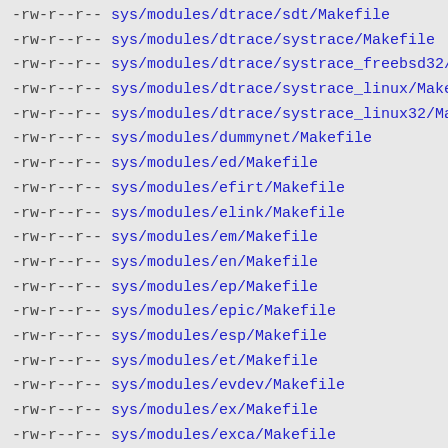-rw-r--r--  sys/modules/dtrace/sdt/Makefile
-rw-r--r--  sys/modules/dtrace/systrace/Makefile
-rw-r--r--  sys/modules/dtrace/systrace_freebsd32/Makefile
-rw-r--r--  sys/modules/dtrace/systrace_linux/Makefile
-rw-r--r--  sys/modules/dtrace/systrace_linux32/Makefile
-rw-r--r--  sys/modules/dummynet/Makefile
-rw-r--r--  sys/modules/ed/Makefile
-rw-r--r--  sys/modules/efirt/Makefile
-rw-r--r--  sys/modules/elink/Makefile
-rw-r--r--  sys/modules/em/Makefile
-rw-r--r--  sys/modules/en/Makefile
-rw-r--r--  sys/modules/ep/Makefile
-rw-r--r--  sys/modules/epic/Makefile
-rw-r--r--  sys/modules/esp/Makefile
-rw-r--r--  sys/modules/et/Makefile
-rw-r--r--  sys/modules/evdev/Makefile
-rw-r--r--  sys/modules/ex/Makefile
-rw-r--r--  sys/modules/exca/Makefile
-rw-r--r--  sys/modules/ext2fs/Makefile
-rw-r--r--  sys/modules/fatm/Makefile
-rw-r--r--  sys/modules/fdc/Makefile
-rw-r--r--  sys/modules/fdescfs/Makefile
-rw-r--r--  sys/modules/fe/Makefile
-rw-r--r--  sys/modules/filemon/Makefile